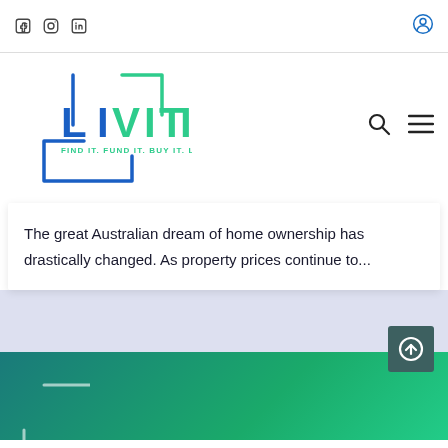Social icons (Facebook, Instagram, LinkedIn) and user profile icon
[Figure (logo): LIVITI logo with blue and green bracket/frame design and tagline FIND IT. FUND IT. BUY IT. LIVE IT.]
The great Australian dream of home ownership has drastically changed. As property prices continue to...
[Figure (other): Lavender/light purple background section]
[Figure (other): Green gradient footer section with partial LIVITI logo bottom-left and scroll-to-top button]